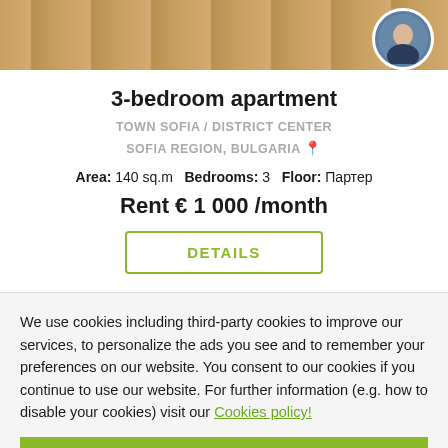[Figure (photo): Wooden floor interior photo strip with agent profile circle photo in top right corner]
3-bedroom apartment
TOWN SOFIA / DISTRICT CENTER
SOFIA REGION, BULGARIA
Area: 140 sq.m   Bedrooms: 3   Floor: Партер
Rent € 1 000 /month
DETAILS
We use cookies including third-party cookies to improve our services, to personalize the ads you see and to remember your preferences on our website. You consent to our cookies if you continue to use our website. For further information (e.g. how to disable your cookies) visit our Cookies policy!
OK